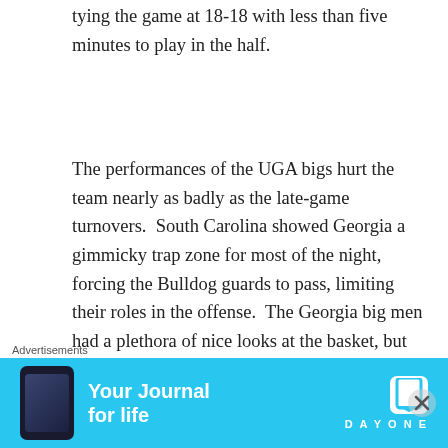tying the game at 18-18 with less than five minutes to play in the half.
The performances of the UGA bigs hurt the team nearly as badly as the late-game turnovers. South Carolina showed Georgia a gimmicky trap zone for most of the night, forcing the Bulldog guards to pass, limiting their roles in the offense. The Georgia big men had a plethora of nice looks at the basket, but they were unable to take advantage of many of them. Marcus Thornton, Donte Williams, Neme Djurisic and John Florveus shot a combined 8 for 27 from the floor, or just under 30%, which is a totally unacceptable
[Figure (other): Advertisement banner for DayOne 'Your Journal for life' app with cyan background, phone graphic on left, and DayOne logo on right]